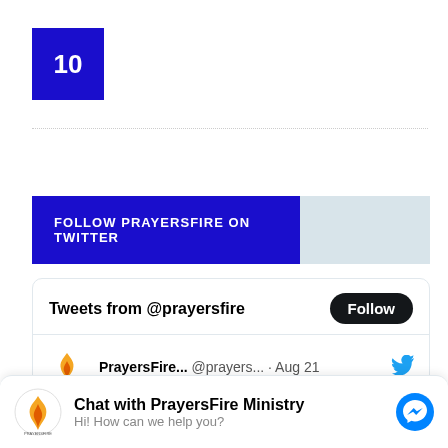[Figure (other): Blue square with white number 10 inside]
[Figure (other): Follow PrayersFire on Twitter banner with blue section and light blue section]
[Figure (screenshot): Twitter widget showing Tweets from @prayersfire with Follow button and a tweet from PrayersFire... @prayers... Aug 21 with Twitter bird icon]
[Figure (other): Chat bar: PrayersFire logo, Chat with PrayersFire Ministry text, Hi! How can we help you? subtext, and Messenger icon]